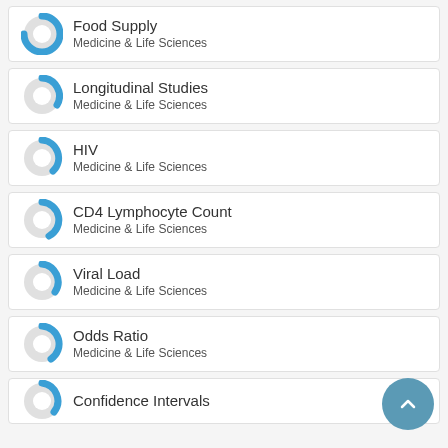Food Supply
Medicine & Life Sciences
Longitudinal Studies
Medicine & Life Sciences
HIV
Medicine & Life Sciences
CD4 Lymphocyte Count
Medicine & Life Sciences
Viral Load
Medicine & Life Sciences
Odds Ratio
Medicine & Life Sciences
Confidence Intervals
Medicine & Life Sciences